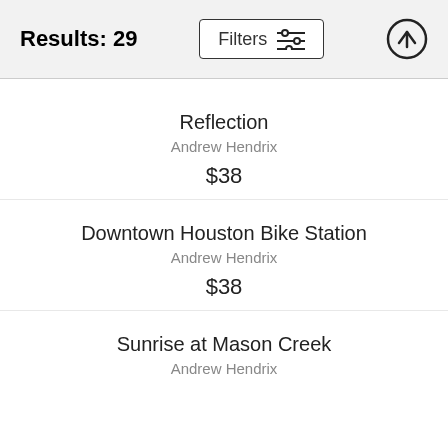Results: 29
Reflection
Andrew Hendrix
$38
Downtown Houston Bike Station
Andrew Hendrix
$38
Sunrise at Mason Creek
Andrew Hendrix